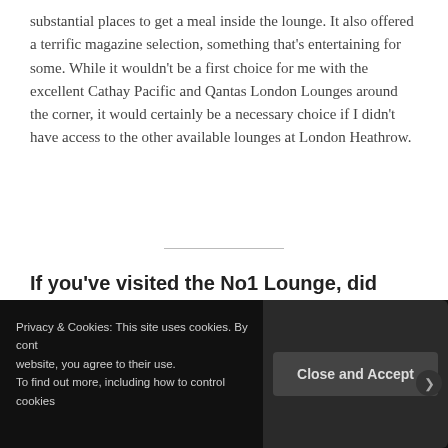substantial places to get a meal inside the lounge. It also offered a terrific magazine selection, something that's entertaining for some. While it wouldn't be a first choice for me with the excellent Cathay Pacific and Qantas London Lounges around the corner, it would certainly be a necessary choice if I didn't have access to the other available lounges at London Heathrow.
If you've visited the No1 Lounge, did you use
Privacy & Cookies: This site uses cookies. By cont... website, you agree to their use. To find out more, including how to control cookies...
Close and Accept